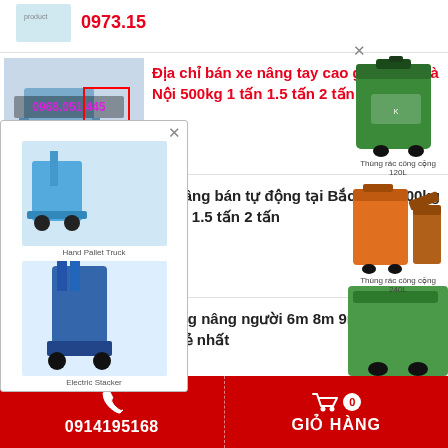0973.152.312
Địa chỉ bán xe nâng tay cao giá rẻ tại Hà Nội 500kg 1 tấn 1.5 tấn 2 tấn
Xe nâng bán tự động tại Bắc Ninh 500kg 1 tấn 1.5 tấn 2 tấn
[Figure (photo): Hand pallet truck and electric stacker popup ad]
[Figure (photo): Green 120L public trash can ad on right side]
[Figure (photo): Orange/brown 240L public trash can ad on right side]
Thang nâng người 6m 8m 9m 10m 16m giá rẻ nhất
0914195168   GIỎ HÀNG  0